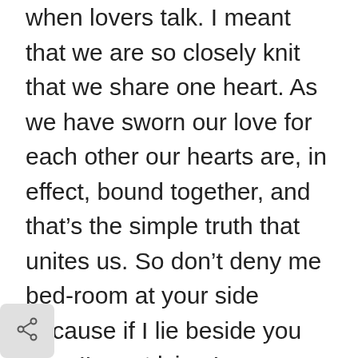when lovers talk. I meant that we are so closely knit that we share one heart. As we have sworn our love for each other our hearts are, in effect, bound together, and that's the simple truth that unites us. So don't deny me bed-room at your side because if I lie beside you then I'm not lying.'
[Figure (other): Share button icon in bottom-left corner, a rounded square button with a share/forward arrow icon]